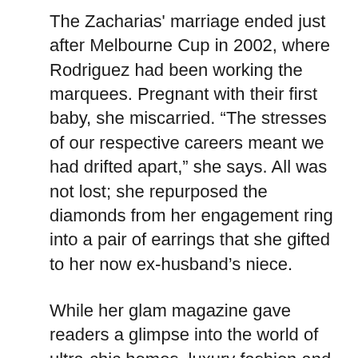The Zacharias' marriage ended just after Melbourne Cup in 2002, where Rodriguez had been working the marquees. Pregnant with their first baby, she miscarried. “The stresses of our respective careers meant we had drifted apart,” she says. All was not lost; she repurposed the diamonds from her engagement ring into a pair of earrings that she gifted to her now ex-husband’s niece.
While her glam magazine gave readers a glimpse into the world of ultra-chic homes, luxury fashion and prestige cars years before the advent of social media, it barely broke even and in 2004, Rodriguez says she had “no choice” but to kill it off. She remained a fixture in the gossip pages thanks to her